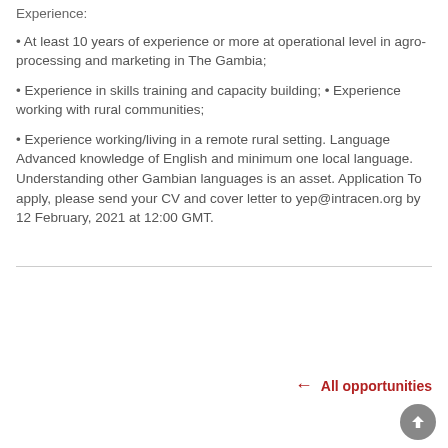Experience:
• At least 10 years of experience or more at operational level in agro-processing and marketing in The Gambia;
• Experience in skills training and capacity building; • Experience working with rural communities;
• Experience working/living in a remote rural setting. Language Advanced knowledge of English and minimum one local language. Understanding other Gambian languages is an asset. Application To apply, please send your CV and cover letter to yep@intracen.org by 12 February, 2021 at 12:00 GMT.
← All opportunities